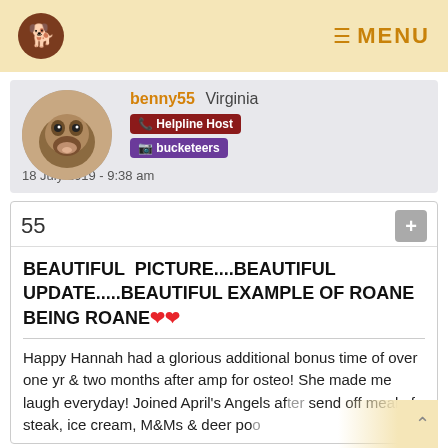MENU
benny55  Virginia
Helpline Host  bucketeers
18 July 2019 - 9:38 am
55
BEAUTIFUL PICTURE....BEAUTIFUL UPDATE.....BEAUTIFUL EXAMPLE OF ROANE BEING ROANE
Happy Hannah had a glorious additional bonus time of over one yr & two months after amp for osteo! She made me laugh everyday! Joined April's Angels after send off meal of steak, ice cream, M&Ms & deer po